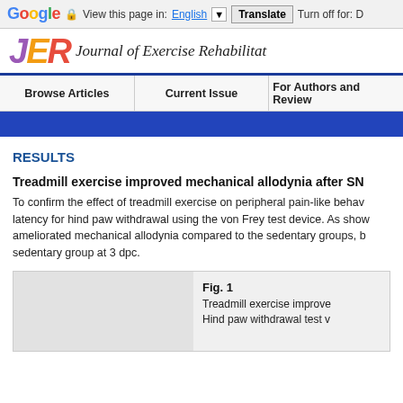Google  View this page in: English  Translate  Turn off for: D
JER  Journal of Exercise Rehabilitat
Browse Articles | Current Issue | For Authors and Review
RESULTS
Treadmill exercise improved mechanical allodynia after SN
To confirm the effect of treadmill exercise on peripheral pain-like behav latency for hind paw withdrawal using the von Frey test device. As show ameliorated mechanical allodynia compared to the sedentary groups, b sedentary group at 3 dpc.
Fig. 1
Treadmill exercise improve
Hind paw withdrawal test v